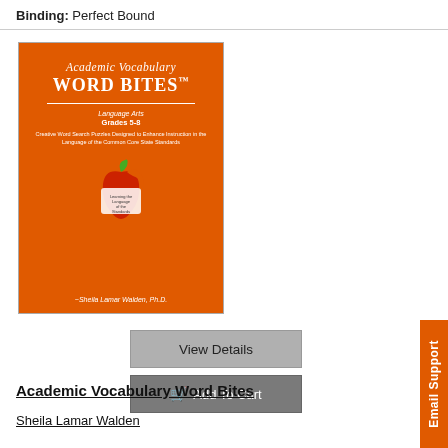Binding: Perfect Bound
[Figure (illustration): Book cover for 'Academic Vocabulary Word Bites' by Sheila Lamar Walden, Ph.D. Orange background with white text. Features an apple illustration with text inside. Subtitle: Language Arts, Grades 5-8.]
View Details
Add To Cart
Academic Vocabulary Word Bites
Sheila Lamar Walden